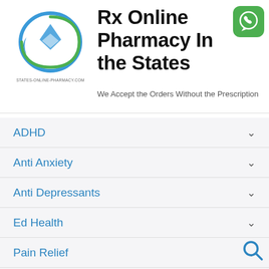[Figure (logo): States Online Pharmacy logo with circular blue and green design]
Rx Online Pharmacy In the States
We Accept the Orders Without the Prescription
[Figure (logo): WhatsApp green icon with phone handset]
ADHD
Anti Anxiety
Anti Depressants
Ed Health
Pain Relief